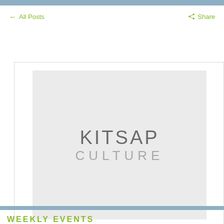← All Posts    Share
[Figure (logo): Kitsap Culture logo placeholder image on light gray background with text KITSAP CULTURE]
WEEKLY EVENTS